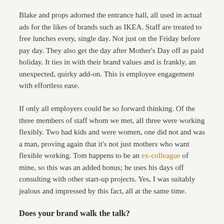Blake and props adorned the entrance hall, all used in actual ads for the likes of brands such as IKEA. Staff are treated to free lunches every, single day. Not just on the Friday before pay day. They also get the day after Mother's Day off as paid holiday. It ties in with their brand values and is frankly, an unexpected, quirky add-on. This is employee engagement with effortless ease.
If only all employers could be so forward thinking. Of the three members of staff whom we met, all three were working flexibly. Two had kids and were women, one did not and was a man, proving again that it's not just mothers who want flexible working. Tom happens to be an ex-colleague of mine, so this was an added bonus; he uses his days off consulting with other start-up projects. Yes, I was suitably jealous and impressed by this fact, all at the same time.
Does your brand walk the talk?